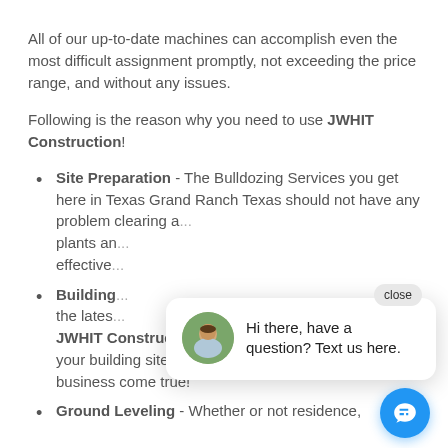All of our up-to-date machines can accomplish even the most difficult assignment promptly, not exceeding the price range, and without any issues.
Following is the reason why you need to use JWHIT Construction!
Site Preparation - The Bulldozing Services you get here in Texas Grand Ranch Texas should not have any problem clearing and removing trees, plants and undergrowth, making it one of our most effective and efficient services.
Building [partially obscured by chat popup] the latest... JWHIT Construction will be able to clear and level your building site in order to make your perfect home or business come true!
Ground Leveling - Whether or not residence,
[Figure (screenshot): Chat widget popup with close button, avatar photo of a man, and text 'Hi there, have a question? Text us here.' Plus a blue circular chat button in the bottom right corner.]